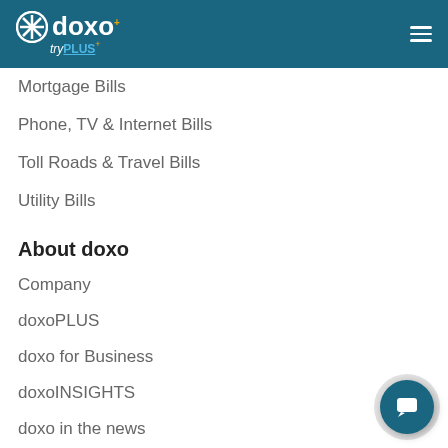doxo try PLUS
Mortgage Bills
Phone, TV & Internet Bills
Toll Roads & Travel Bills
Utility Bills
About doxo
Company
doxoPLUS
doxo for Business
doxoINSIGHTS
doxo in the news
Contact Us
Careers at doxo
Help